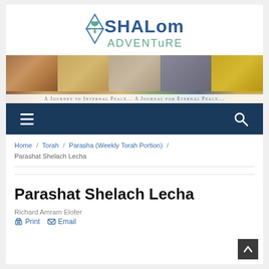[Figure (logo): Shalom Adventure logo with Star of David and dove, blue text reading SHALOM ADVENTURE]
[Figure (photo): Banner strip with five panels: desert rocks, ancient scroll, stone archway, man in tallit, golden menorah. Caption reads: A Journey to Internal Peace... A Journal for Eternal Peace...]
Navigation bar with hamburger menu and search icon
Home / Torah / Parasha (Weekly Torah Portion) / Parashat Shelach Lecha
Parashat Shelach Lecha
Richard Amram Elofer
Print  Email